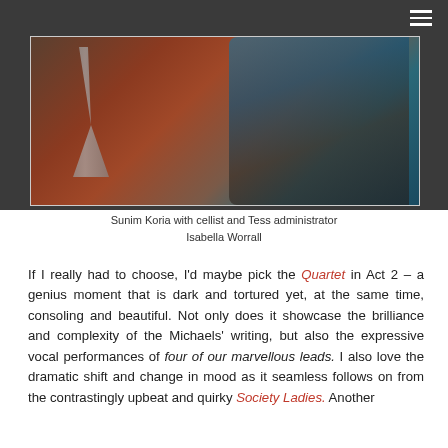[Figure (photo): Photo of Sunim Koria with cellist and Tess administrator Isabella Worrall, showing music instruments including a cello in a room setting.]
Sunim Koria with cellist and Tess administrator Isabella Worrall
If I really had to choose, I'd maybe pick the Quartet in Act 2 – a genius moment that is dark and tortured yet, at the same time, consoling and beautiful. Not only does it showcase the brilliance and complexity of the Michaels' writing, but also the expressive vocal performances of four of our marvellous leads. I also love the dramatic shift and change in mood as it seamless follows on from the contrastingly upbeat and quirky Society Ladies. Another